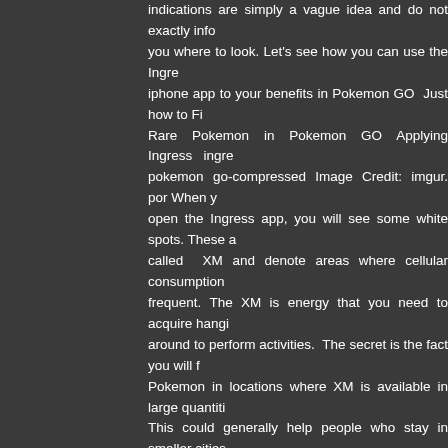indications are simply a vague idea and do not exactly inform you where to look. Let's see how you can use the Ingress iphone app to your benefits in Pokemon GO  Just how to Find Rare Pokemon in Pokemon GO Applying Ingress  ingress pokemon go-compressed Image Credit: imgur. por When you open the Ingress app, you will see some white spots. These are called XM and denote areas where cellular consumption is frequent. The XM is energy that you need to acquire hanging around to perform activities.  The secret is the fact you will find Pokemon in locations where XM is available in large quantities. This could generally help people who stay in smaller cities and villages. Follow dense XM groups will lead you to the location you choose to find tons of Pokemon. The Reddit consumer who posted this suggestion said that he found a Squirtle 3 foot print away within ten minutes. Pokemon GO CHEATS DEVICE is a new program created to make the game simpler for you. This kind of iphone app allows you to add unlimited amount. Unlimited coin Pokemon GET CHEATS TOOL is made based on gaps in game code. It hooks up directly to game machine and made changes in data base to change amount of your resources. Our cheat will not leave any trace. We no longer